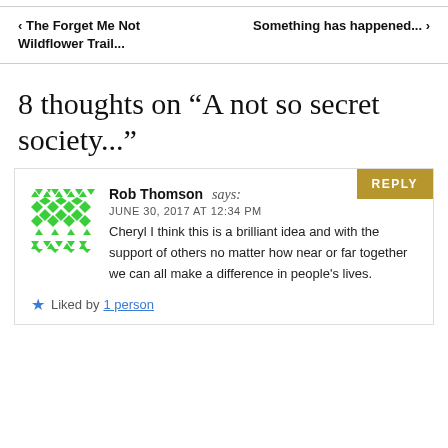< The Forget Me Not Wildflower Trail...    Something has happened... >
8 thoughts on “A not so secret society...”
Rob Thomson says: JUNE 30, 2017 AT 12:34 PM
Cheryl I think this is a brilliant idea and with the support of others no matter how near or far together we can all make a difference in people's lives.
Liked by 1 person